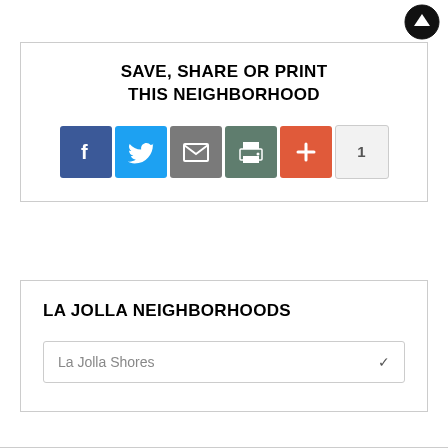[Figure (other): Circular back-to-top button with upward arrow icon in black]
SAVE, SHARE OR PRINT THIS NEIGHBORHOOD
[Figure (other): Social sharing icons: Facebook (blue), Twitter (light blue), Email (gray), Print (teal-gray), Plus/More (orange-red), and a count badge showing 1]
LA JOLLA NEIGHBORHOODS
[Figure (other): Dropdown selector showing 'La Jolla Shores' with a chevron arrow]